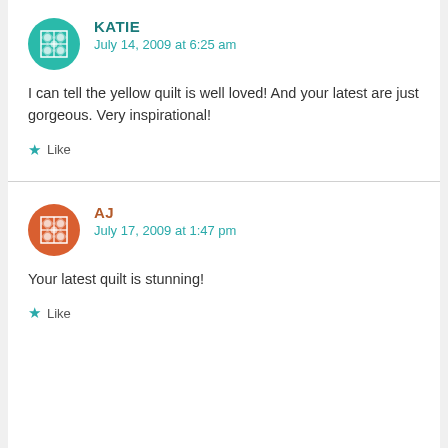KATIE
July 14, 2009 at 6:25 am
I can tell the yellow quilt is well loved! And your latest are just gorgeous. Very inspirational!
Like
AJ
July 17, 2009 at 1:47 pm
Your latest quilt is stunning!
Like